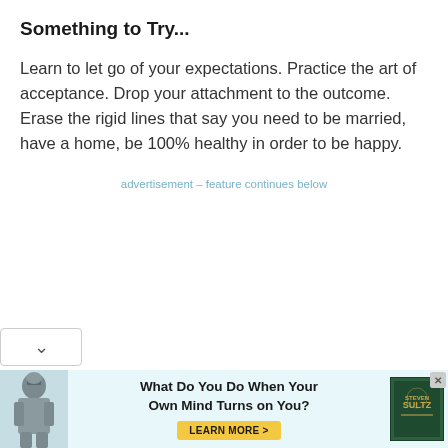Something to Try...
Learn to let go of your expectations. Practice the art of acceptance. Drop your attachment to the outcome. Erase the rigid lines that say you need to be married, have a home, be 100% healthy in order to be happy.
advertisement – feature continues below
[Figure (infographic): Advertisement banner: knight figure on left, bold text 'What Do You Do When Your Own Mind Turns on You?' with 'LEARN MORE >' button, book cover image on right, close button top-right.]